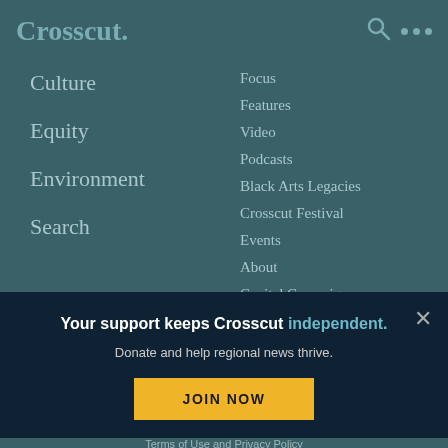Crosscut.
Culture
Equity
Environment
Search
Focus
Features
Video
Podcasts
Black Arts Legacies
Crosscut Festival
Events
About
Capital Campaign
Careers
Newsletters
Your support keeps Crosscut independent.
Donate and help regional news thrive.
JOIN NOW
Terms of Use and Privacy Policy